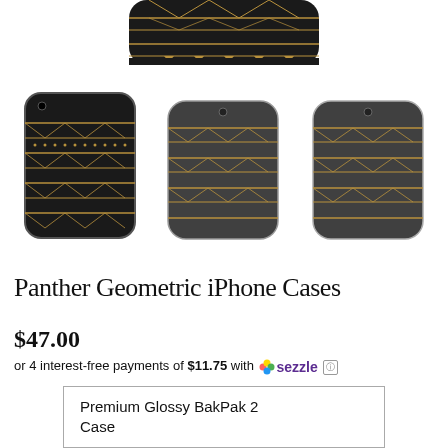[Figure (photo): Top view of a Panther Geometric iPhone case showing a partially cropped dark case with gold geometric Aztec pattern, viewed from the top]
[Figure (photo): Row of three Panther Geometric iPhone cases: left is a solid black case for iPhone SE/8, center is a clear case for iPhone X showing the geometric gold pattern, right is a clear case for a larger iPhone model with the same gold Aztec geometric pattern]
Panther Geometric iPhone Cases
$47.00
or 4 interest-free payments of $11.75 with sezzle ℹ
Premium Glossy BakPak 2 Case